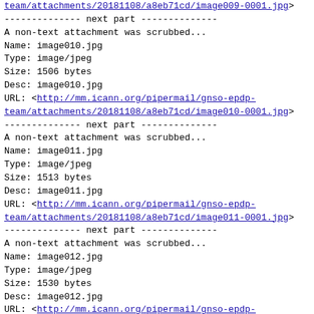team/attachments/20181108/a8eb71cd/image009-0001.jpg>
-------------- next part --------------
A non-text attachment was scrubbed...
Name: image010.jpg
Type: image/jpeg
Size: 1506 bytes
Desc: image010.jpg
URL: <http://mm.icann.org/pipermail/gnso-epdp-team/attachments/20181108/a8eb71cd/image010-0001.jpg>
-------------- next part --------------
A non-text attachment was scrubbed...
Name: image011.jpg
Type: image/jpeg
Size: 1513 bytes
Desc: image011.jpg
URL: <http://mm.icann.org/pipermail/gnso-epdp-team/attachments/20181108/a8eb71cd/image011-0001.jpg>
-------------- next part --------------
A non-text attachment was scrubbed...
Name: image012.jpg
Type: image/jpeg
Size: 1530 bytes
Desc: image012.jpg
URL: <http://mm.icann.org/pipermail/gnso-epdp-team/attachments/20181108/a8eb71cd/image012-0001.jpg>
-------------- next part --------------
A non-text attachment was scrubbed...
Name: image013.jpg
Type: image/jpeg
Size: 1514 bytes
Desc: image013.jpg